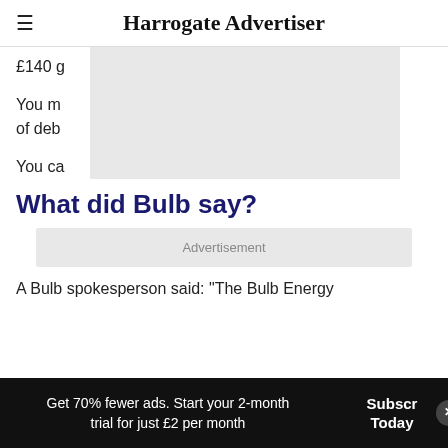Harrogate Advertiser
£140 g
You m worth of deb
You ca
What did Bulb say?
[Figure (other): Advertisement banner placeholder]
A Bulb spokesperson said: "The Bulb Energy
Get 70% fewer ads. Start your 2-month trial for just £2 per month
Subscribe Today